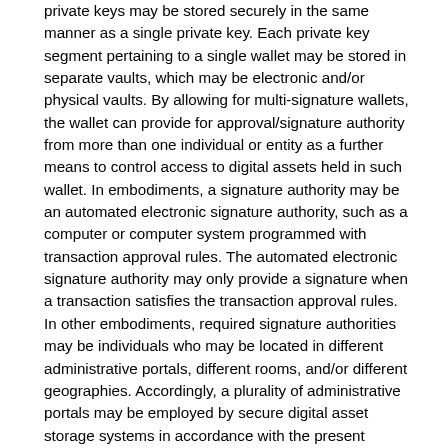private keys may be stored securely in the same manner as a single private key. Each private key segment pertaining to a single wallet may be stored in separate vaults, which may be electronic and/or physical vaults. By allowing for multi-signature wallets, the wallet can provide for approval/signature authority from more than one individual or entity as a further means to control access to digital assets held in such wallet. In embodiments, a signature authority may be an automated electronic signature authority, such as a computer or computer system programmed with transaction approval rules. The automated electronic signature authority may only provide a signature when a transaction satisfies the transaction approval rules. In other embodiments, required signature authorities may be individuals who may be located in different administrative portals, different rooms, and/or different geographies. Accordingly, a plurality of administrative portals may be employed by secure digital asset storage systems in accordance with the present invention. In embodiments, one portal may be used for re-assembling key segments and thus providing one private key, and an individual or system in a second location may be required to provide a second key or signature before a